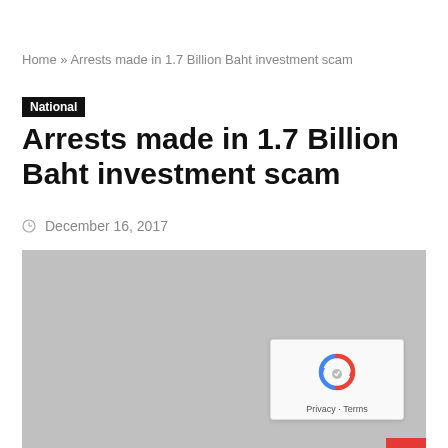Home » Arrests made in 1.7 Billion Baht investment scam
National
Arrests made in 1.7 Billion Baht investment scam
December 16, 2017
[Figure (photo): Gray placeholder image for article photo]